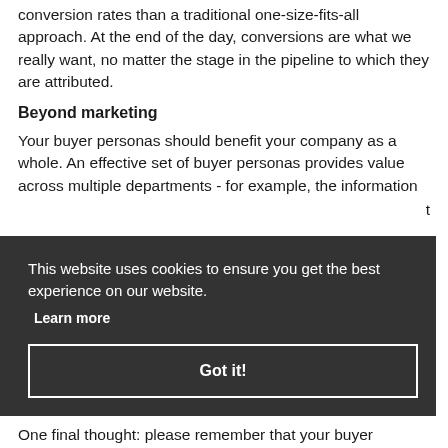conversion rates than a traditional one-size-fits-all approach. At the end of the day, conversions are what we really want, no matter the stage in the pipeline to which they are attributed.
Beyond marketing
Your buyer personas should benefit your company as a whole. An effective set of buyer personas provides value across multiple departments - for example, the information [partially obscured]
[Figure (screenshot): Cookie consent banner with dark background overlay. Text: 'This website uses cookies to ensure you get the best experience on our website.' with 'Learn more' link and 'Got it!' button.]
One final thought: please remember that your buyer